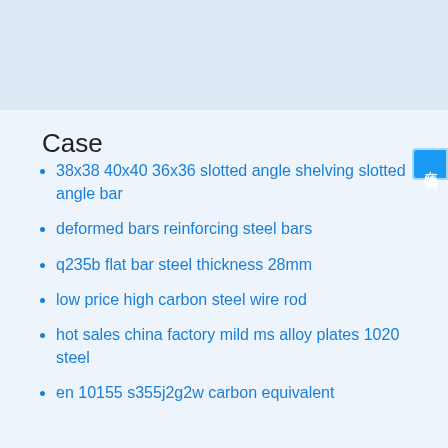Case
38x38 40x40 36x36 slotted angle shelving slotted angle bar
deformed bars reinforcing steel bars
q235b flat bar steel thickness 28mm
low price high carbon steel wire rod
hot sales china factory mild ms alloy plates 1020 steel
en 10155 s355j2g2w carbon equivalent